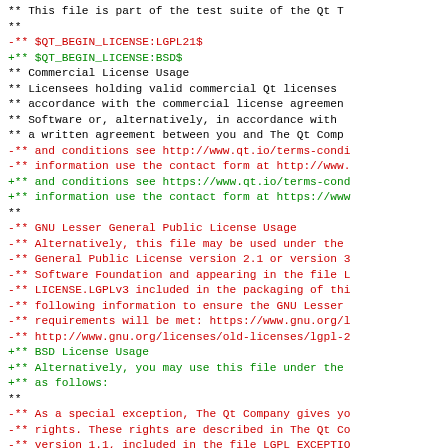** This file is part of the test suite of the Qt T
 **
 -** $QT_BEGIN_LICENSE:LGPL21$
 +** $QT_BEGIN_LICENSE:BSD$
  ** Commercial License Usage
  ** Licensees holding valid commercial Qt licenses
  ** accordance with the commercial license agreemen
  ** Software or, alternatively, in accordance with
  ** a written agreement between you and The Qt Comp
 -** and conditions see http://www.qt.io/terms-condi
 -** information use the contact form at http://www.
 +** and conditions see https://www.qt.io/terms-cond
 +** information use the contact form at https://www
  **
 -** GNU Lesser General Public License Usage
 -** Alternatively, this file may be used under the
 -** General Public License version 2.1 or version 3
 -** Software Foundation and appearing in the file L
 -** LICENSE.LGPLv3 included in the packaging of thi
 -** following information to ensure the GNU Lesser
 -** requirements will be met: https://www.gnu.org/l
 -** http://www.gnu.org/licenses/old-licenses/lgpl-2
 +** BSD License Usage
 +** Alternatively, you may use this file under the
 +** as follows:
  **
 -** As a special exception, The Qt Company gives yo
 -** rights. These rights are described in The Qt Co
 -** version 1.1, included in the file LGPL_EXCEPTIO
 -** "Redistribution and permission...